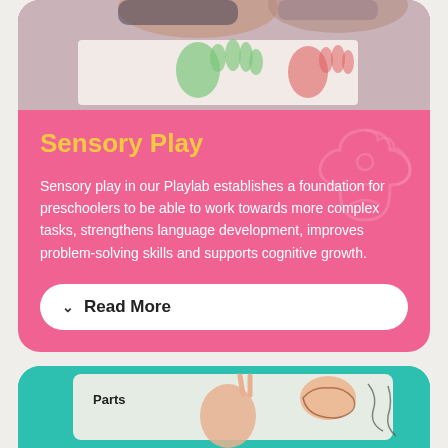[Figure (photo): Top portion of a photo showing children doing handprint art on paper, visible from approximately mid-torso down]
Sensory Play
Sensory play in our Playlab establishes a foundation for preschoolers to be able to work towards more complex tasks, strengthens language development, improves problem-solving skills and supports cognitive growth.
Read More
[Figure (photo): Bottom portion showing the top of a teal card with a photo of a child holding up fingers in a peace sign, with drawings and text 'Parts' visible on paper]